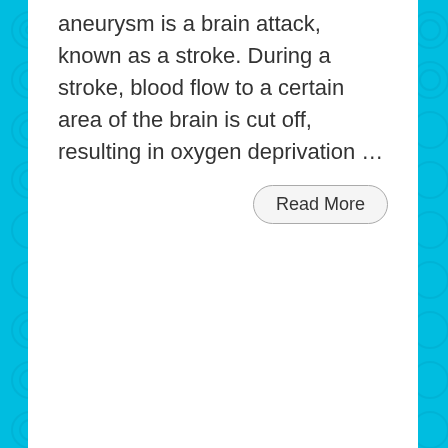aneurysm is a brain attack, known as a stroke. During a stroke, blood flow to a certain area of the brain is cut off, resulting in oxygen deprivation …
Read More
© Copyright 2003-2021, All Rights Reserved - Michelle Honda PhD - Toronto San Francisco London Sydney